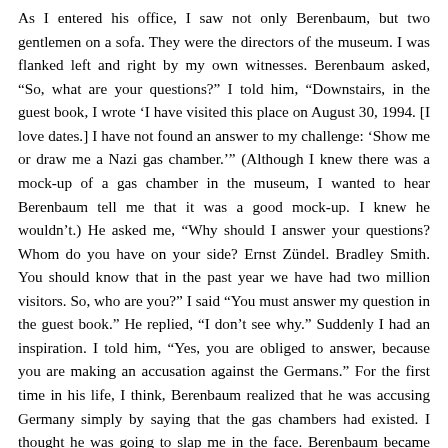As I entered his office, I saw not only Berenbaum, but two gentlemen on a sofa. They were the directors of the museum. I was flanked left and right by my own witnesses. Berenbaum asked, “So, what are your questions?” I told him, “Downstairs, in the guest book, I wrote ‘I have visited this place on August 30, 1994. [I love dates.] I have not found an answer to my challenge: ‘Show me or draw me a Nazi gas chamber.’” (Although I knew there was a mock-up of a gas chamber in the museum, I wanted to hear Berenbaum tell me that it was a good mock-up. I knew he wouldn’t.) He asked me, “Why should I answer your questions? Whom do you have on your side? Ernst Zündel. Bradley Smith. You should know that in the past year we have had two million visitors. So, who are you?” I said “You must answer my question in the guest book.” He replied, “I don’t see why.” Suddenly I had an inspiration. I told him, “Yes, you are obliged to answer, because you are making an accusation against the Germans.” For the first time in his life, I think, Berenbaum realized that he was accusing Germany simply by saying that the gas chambers had existed. I thought he was going to slap me in the face. Berenbaum became enraged, and for a minute I thought he would call security. I seem to recall that he stopped the tape recorder — and for the next hour I tortured the poor man.